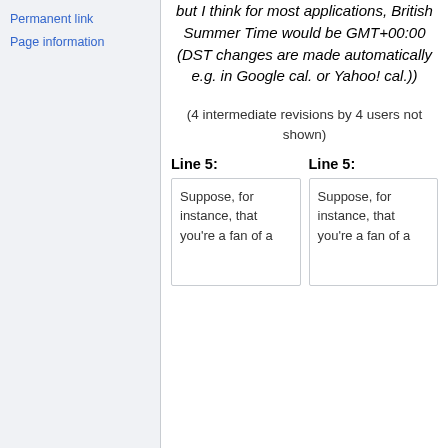Permanent link
Page information
but I think for most applications, British Summer Time would be GMT+00:00 (DST changes are made automatically e.g. in Google cal. or Yahoo! cal.))
(4 intermediate revisions by 4 users not shown)
Line 5:
Line 5:
Suppose, for instance, that you're a fan of a
Suppose, for instance, that you're a fan of a